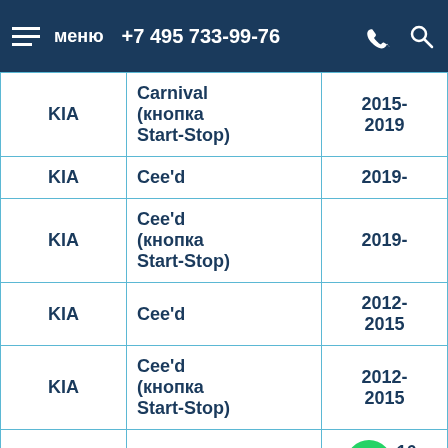меню   +7 495 733-99-76
| KIA | Carnival (кнопка Start-Stop) | 2015-2019 |
| KIA | Cee'd | 2019- |
| KIA | Cee'd (кнопка Start-Stop) | 2019- |
| KIA | Cee'd | 2012-2015 |
| KIA | Cee'd (кнопка Start-Stop) | 2012-2015 |
| KIA | Cee'd | 2016-2018 |
| KIA | Cee'd | 2016- |